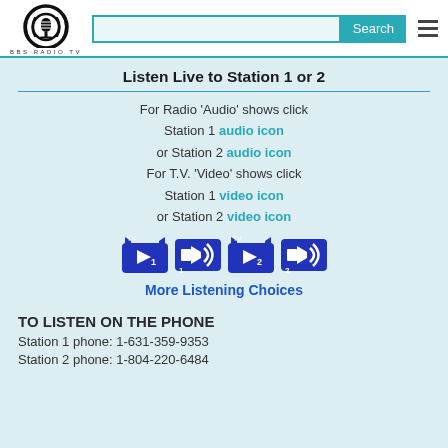BBS RADIO TV
Listen Live to Station 1 or 2
For Radio 'Audio' shows click Station 1 audio icon or Station 2 audio icon For T.V. 'Video' shows click Station 1 video icon or Station 2 video icon
[Figure (infographic): Four blue icon buttons: TV Station 1 video icon, Station 1 audio icon, TV Station 2 video icon, Station 2 audio icon]
More Listening Choices
TO LISTEN ON THE PHONE
Station 1 phone: 1-631-359-9353
Station 2 phone: 1-804-220-6484